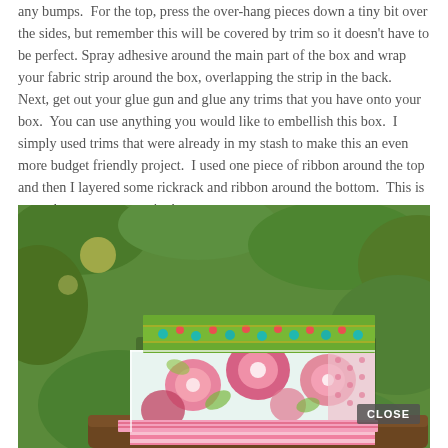any bumps.  For the top, press the over-hang pieces down a tiny bit over the sides, but remember this will be covered by trim so it doesn't have to be perfect. Spray adhesive around the main part of the box and wrap your fabric strip around the box, overlapping the strip in the back. Next, get out your glue gun and glue any trims that you have onto your box.  You can use anything you would like to embellish this box.  I simply used trims that were already in my stash to make this an even more budget friendly project.  I used one piece of ribbon around the top and then I layered some rickrack and ribbon around the bottom.  This is your chance to get creative!
[Figure (photo): A decorated fabric-covered box with floral pink and green fabric, colorful rickrack trim at top, and pink striped ribbon at bottom, photographed outdoors on a log with green foliage background. A 'CLOSE' button overlay appears in the lower right.]